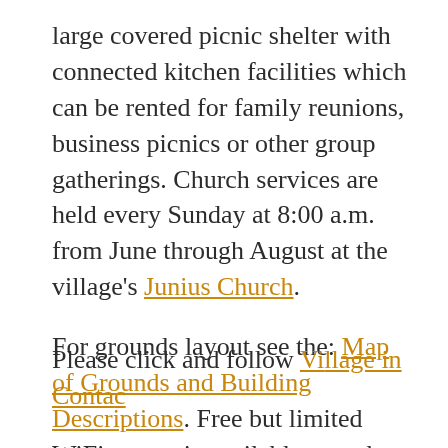large covered picnic shelter with connected kitchen facilities which can be rented for family reunions, business picnics or other group gatherings. Church services are held every Sunday at 8:00 a.m. from June through August at the village's Junius Church.
For grounds layout see the: Map of Grounds and Building Descriptions. Free but limited WiFi access is available near the gift shop and just north of the carousel (not available in most camp sites).
Please click and follow...